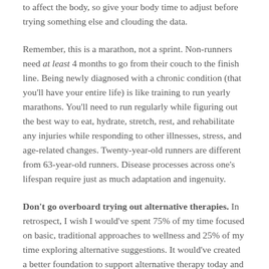to affect the body, so give your body time to adjust before trying something else and clouding the data.
Remember, this is a marathon, not a sprint. Non-runners need at least 4 months to go from their couch to the finish line. Being newly diagnosed with a chronic condition (that you'll have your entire life) is like training to run yearly marathons. You'll need to run regularly while figuring out the best way to eat, hydrate, stretch, rest, and rehabilitate any injuries while responding to other illnesses, stress, and age-related changes. Twenty-year-old runners are different from 63-year-old runners. Disease processes across one's lifespan require just as much adaptation and ingenuity.
Don't go overboard trying out alternative therapies. In retrospect, I wish I would've spent 75% of my time focused on basic, traditional approaches to wellness and 25% of my time exploring alternative suggestions. It would've created a better foundation to support alternative therapy today and saved me a lot of time.